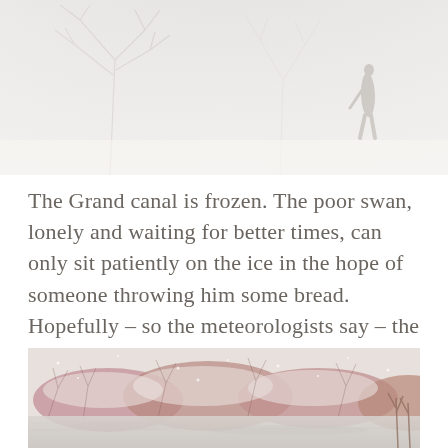[Figure (photo): Misty winter scene with bare trees and a silhouetted figure walking in heavy snowfall or fog, very pale and washed-out tones]
The Grand canal is frozen. The poor swan, lonely and waiting for better times, can only sit patiently on the ice in the hope of someone throwing him some bread. Hopefully – so the meteorologists say – the worst is over after the weekend.
[Figure (photo): Snow-covered reddish-pink shrubs and frozen canal or river with icy water in foreground, wintry landscape scene]